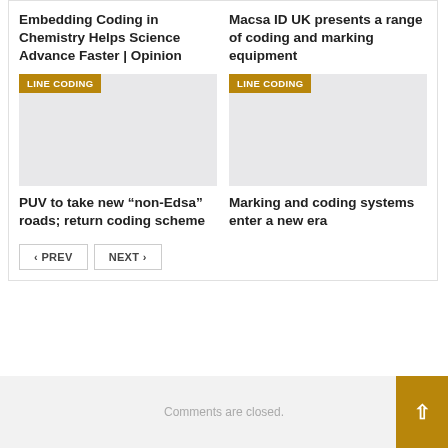Embedding Coding in Chemistry Helps Science Advance Faster | Opinion
[Figure (other): LINE CODING badge over grey placeholder image]
PUV to take new “non-Edsa” roads; return coding scheme
Macsa ID UK presents a range of coding and marking equipment
[Figure (other): LINE CODING badge over grey placeholder image]
Marking and coding systems enter a new era
PREV  NEXT
Comments are closed.